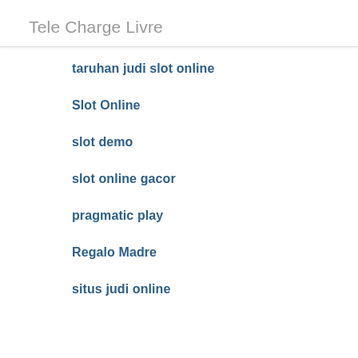Tele Charge Livre
taruhan judi slot online
Slot Online
slot demo
slot online gacor
pragmatic play
Regalo Madre
situs judi online